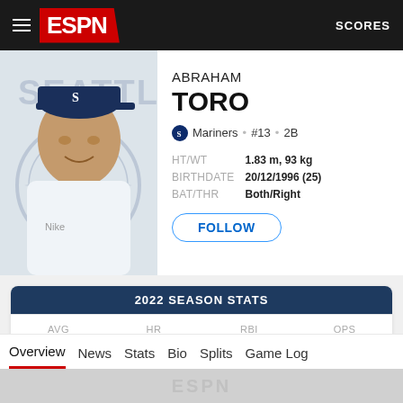ESPN  SCORES
[Figure (photo): Abraham Toro player headshot photo in Seattle Mariners uniform with Mariners compass logo watermark in background]
ABRAHAM TORO
Mariners • #13 • 2B
HT/WT  1.83 m, 93 kg
BIRTHDATE  20/12/1996 (25)
BAT/THR  Both/Right
FOLLOW
| AVG | HR | RBI | OPS |
| --- | --- | --- | --- |
| .180 | 8 | 26 | .560 |
|  | 150+ | 150+ |  |
Overview  News  Stats  Bio  Splits  Game Log